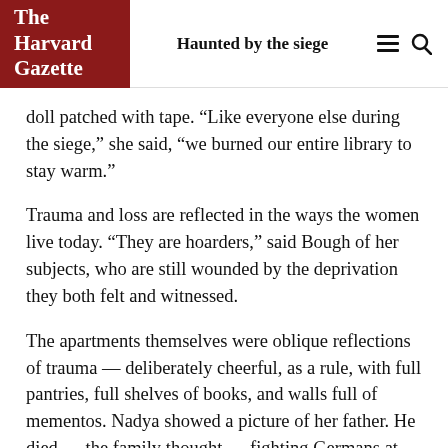The Harvard Gazette | Haunted by the siege
doll patched with tape. “Like everyone else during the siege,” she said, “we burned our entire library to stay warm.”
Trauma and loss are reflected in the ways the women live today. “They are hoarders,” said Bough of her subjects, who are still wounded by the deprivation they both felt and witnessed.
The apartments themselves were oblique reflections of trauma — deliberately cheerful, as a rule, with full pantries, full shelves of books, and walls full of mementos. Nadya showed a picture of her father. He died — the family thought — fighting Germans at the front. “My whole life,” she said, “I have been waiting for his knock on my door.” Nadya is 84.